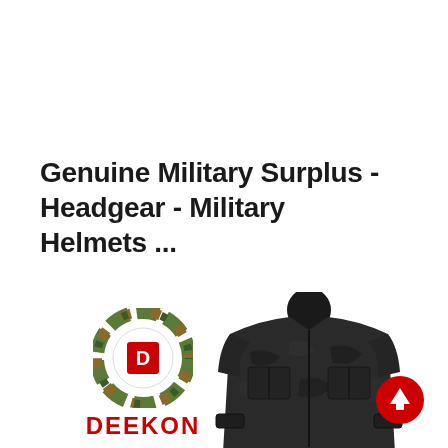Genuine Military Surplus - Headgear - Military Helmets ...
[Figure (logo): DEEKON logo: circular camouflage-pattern ring with a red square and D letter in center, red bold DEEKON text below]
[Figure (photo): Dark multicam/black camouflage military jacket/uniform top, headless mannequin display, shown from front]
[Figure (other): Red circular scroll-to-top button with white upward arrow]